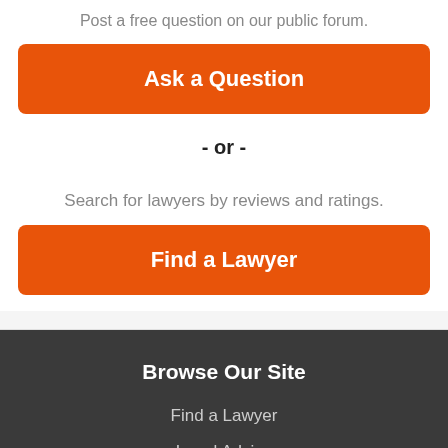Post a free question on our public forum.
Ask a Question
- or -
Search for lawyers by reviews and ratings.
Find a Lawyer
Browse Our Site
Find a Lawyer
Legal Advice